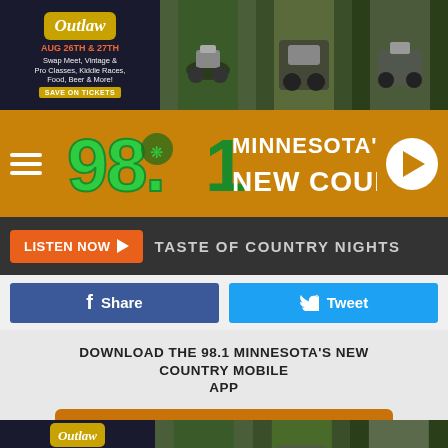[Figure (screenshot): Outlaw ATV event advertisement banner - AUG 26TH & 27TH, Swap Meet, Vintage & Pro Classes, Kiddie Races, Food, Beer & More! SAVE ON TICKETS]
[Figure (logo): 98.1 Minnesota's New Country radio station logo on orange background with hamburger menu and play button]
LISTEN NOW  TASTE OF COUNTRY NIGHTS
Share
Tweet
DOWNLOAD THE 98.1 MINNESOTA'S NEW COUNTRY MOBILE APP
GET OUR FREE MOBILE APP
Also listen on:  amazon alexa
[Figure (screenshot): Outlaw ATV event advertisement banner repeated at bottom - AUG 26TH & 27TH]